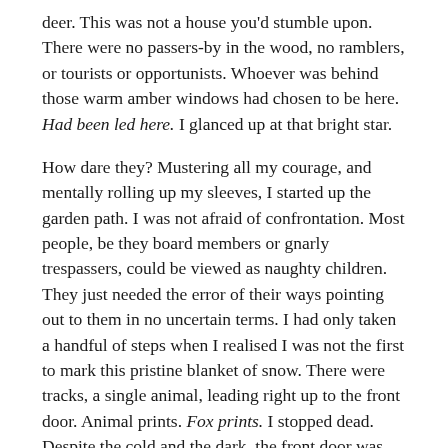deer. This was not a house you'd stumble upon. There were no passers-by in the wood, no ramblers, or tourists or opportunists. Whoever was behind those warm amber windows had chosen to be here. Had been led here. I glanced up at that bright star.
How dare they? Mustering all my courage, and mentally rolling up my sleeves, I started up the garden path. I was not afraid of confrontation. Most people, be they board members or gnarly trespassers, could be viewed as naughty children. They just needed the error of their ways pointing out to them in no uncertain terms. I had only taken a handful of steps when I realised I was not the first to mark this pristine blanket of snow. There were tracks, a single animal, leading right up to the front door. Animal prints. Fox prints. I stopped dead. Despite the cold and the dark, the front door was slightly ajar.
I faltered. Icicles, like crystal drops, had formed on the stone lintel and now they were melting, drip, drip, drip. Someone had